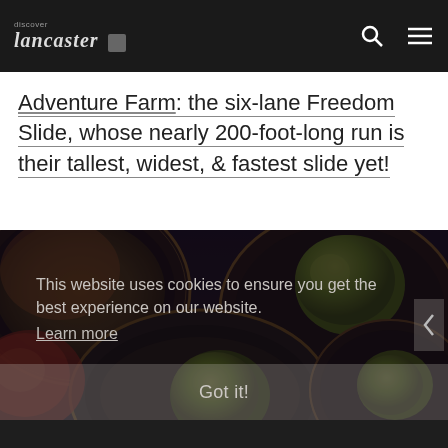Lancaster Adventure Farm
Adventure Farm: the six-lane Freedom Slide, whose nearly 200-foot-long run is their tallest, widest, & fastest slide yet!
[Figure (photo): Close-up overhead photo of several round wicker baskets or wooden barrel lids on a dark surface, with green fruits (possibly apples) visible inside. Warm vintage color toning with golden and purple hues. A cookie consent overlay is visible on top of the image.]
This website uses cookies to ensure you get the best experience on our website.
Learn more
Got it!